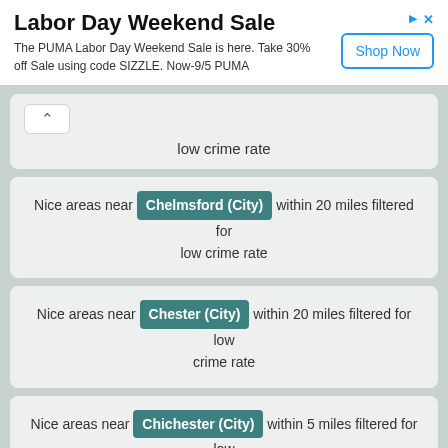[Figure (other): Advertisement banner for PUMA Labor Day Weekend Sale with Shop Now button]
low crime rate
Nice areas near Chelmsford (City) within 20 miles filtered for low crime rate
Nice areas near Chester (City) within 20 miles filtered for low crime rate
Nice areas near Chichester (City) within 5 miles filtered for low crime rate